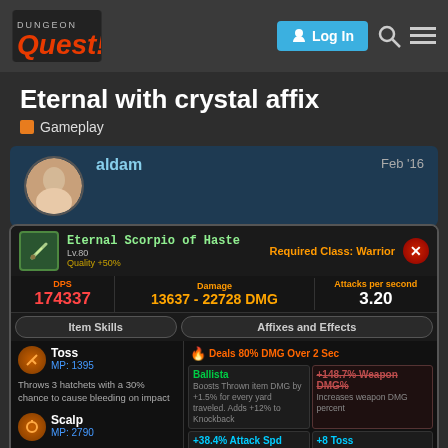Dungeon Quest — Log In
Eternal with crystal affix
Gameplay
aldam  Feb '16
[Figure (screenshot): Game item card for Eternal Scorpio of Haste, Lv.80, Quality +50%, Required Class: Warrior. DPS: 174337, Damage: 13637 – 22728 DMG, Attacks per second: 3.20. Item Skills: Toss (MP: 1395) — Throws 3 hatchets with a 30% chance to cause bleeding on impact. Scalp (MP: 2790) — Summons 3 rotating hatchets dealing 400% offhand DMG every .5 sec with 300% bleed chance. Affixes and Effects: Deals 80% DMG Over 2 Sec. Ballista — Boosts Thrown item DMG by +1.5% for every yard traveled. Adds +12% to Knockback. +148.7% Weapon DMG% — Increases weapon DMG percent. +38.4% Attack Spd — Increases overall attack speed. +8 Toss — Increases the Heroic Skill Rank of Toss. +50% DMG — Increases Weapon DMG by +50%.]
1 / 19